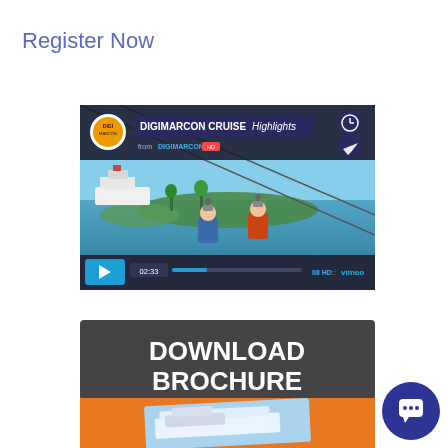Register Now
[Figure (screenshot): Vimeo video thumbnail for DIGIMARCON CRUISE Highlights. Shows a scene of people on zip lines above a tropical bay with a cruise ship in the background. The video player interface shows the DIGIMARCON logo, title 'DIGIMARCON CRUISE Highlights', 'from DIGIMARCON' subtitle, a play button, timestamp 02:33, HD quality indicator and Vimeo branding.]
[Figure (screenshot): Download Brochure banner. Dark gray background with bold white text 'DOWNLOAD BROCHURE'. Below is an orange section beginning to show with a cruise ship image partially visible at the bottom.]